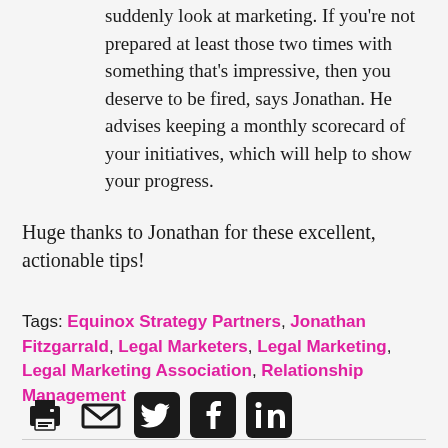suddenly look at marketing. If you're not prepared at least those two times with something that's impressive, then you deserve to be fired, says Jonathan. He advises keeping a monthly scorecard of your initiatives, which will help to show your progress.
Huge thanks to Jonathan for these excellent, actionable tips!
Tags: Equinox Strategy Partners, Jonathan Fitzgarrald, Legal Marketers, Legal Marketing, Legal Marketing Association, Relationship Management
[Figure (other): Social sharing icons: print, email, Twitter, Facebook, LinkedIn]